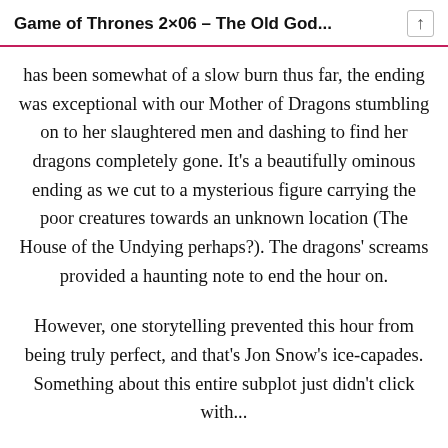Game of Thrones 2×06 – The Old God...
has been somewhat of a slow burn thus far, the ending was exceptional with our Mother of Dragons stumbling on to her slaughtered men and dashing to find her dragons completely gone. It's a beautifully ominous ending as we cut to a mysterious figure carrying the poor creatures towards an unknown location (The House of the Undying perhaps?). The dragons' screams provided a haunting note to end the hour on.
However, one storytelling prevented this hour from being truly perfect, and that's Jon Snow's ice-capades. Something about this entire subplot just didn't click with...